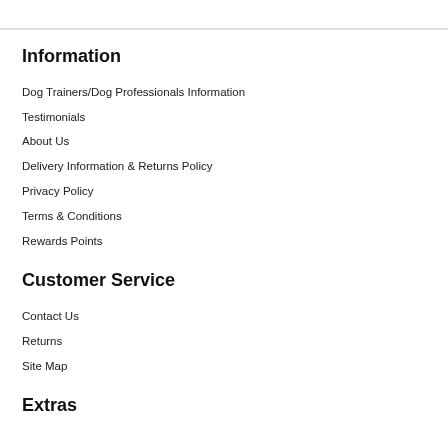Information
Dog Trainers/Dog Professionals Information
Testimonials
About Us
Delivery Information & Returns Policy
Privacy Policy
Terms & Conditions
Rewards Points
Customer Service
Contact Us
Returns
Site Map
Extras